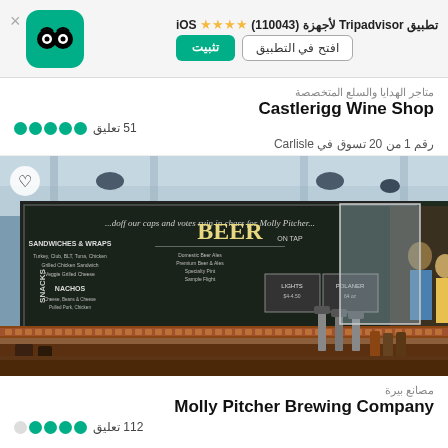تطبيق Tripadvisor لأجهزة (110043) ★★★★ iOS — تثبيت — افتح في التطبيق
متاجر الهدايا والسلع المتخصصة
Castlerigg Wine Shop
●●●●● 51 تعليق
رقم 1 من 20 تسوق في Carlisle
[Figure (photo): Interior of Molly Pitcher Brewing Company bar showing a large chalkboard menu with 'BEER' and food sections, bar counter with taps, staff and patrons visible]
مصانع بيرة
Molly Pitcher Brewing Company
●●●●○ 112 تعليق